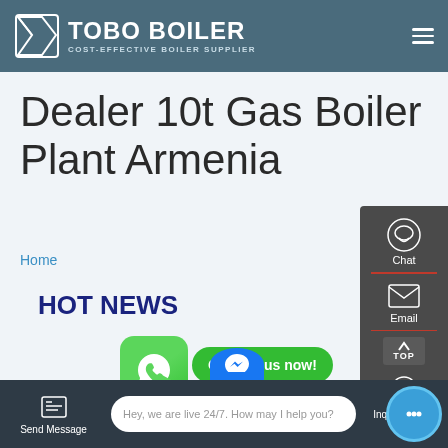[Figure (logo): TOBO BOILER logo with icon on teal/slate header bar. Subtitle: COST-EFFECTIVE BOILER SUPPLIER]
Dealer 10t Gas Boiler Plant Armenia
Home
HOT NEWS
commercial heavy oil vacuum boiler
[Figure (screenshot): WhatsApp green icon bubble and 'Contact us now!' green button]
[Figure (infographic): Right sidebar with Chat, Email, TOP, and Contact icons on dark grey panel]
Send Message   Hey, we are live 24/7. How may I help you?   Inquiry Online